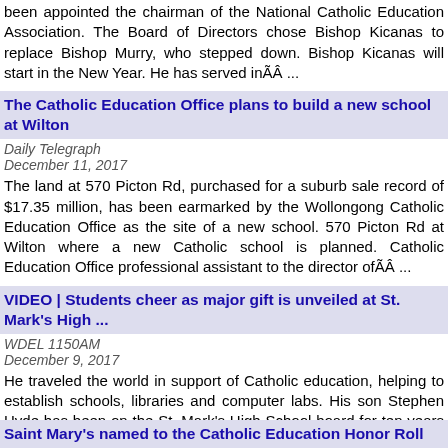been appointed the chairman of the National Catholic Education Association. The Board of Directors chose Bishop Kicanas to replace Bishop Murry, who stepped down. Bishop Kicanas will start in the New Year. He has served inÃÂ ...
The Catholic Education Office plans to build a new school at Wilton
Daily Telegraph
December 11, 2017
The land at 570 Picton Rd, purchased for a suburb sale record of $17.35 million, has been earmarked by the Wollongong Catholic Education Office as the site of a new school. 570 Picton Rd at Wilton where a new Catholic school is planned. Catholic Education Office professional assistant to the director ofÃÂ ...
VIDEO | Students cheer as major gift is unveiled at St. Mark's High ...
WDEL 1150AM
December 9, 2017
He traveled the world in support of Catholic education, helping to establish schools, libraries and computer labs. His son Stephen Hyde has been on the St. Mark's High School board for ten years and made the check presentation with his wife Lisa, who is a graduate of the school off Pike Creek Road.
Saint Mary's named to the Catholic Education Honor Roll